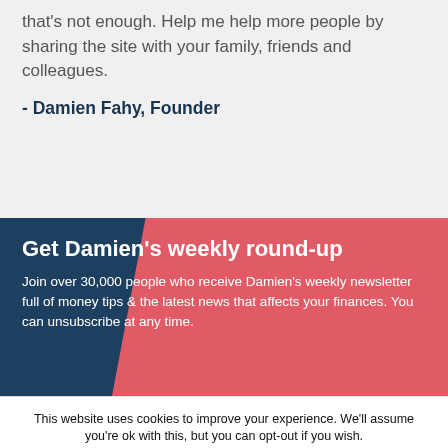that's not enough. Help me help more people by sharing the site with your family, friends and colleagues.
- Damien Fahy, Founder
Get Damien's weekly round-up
Join over 30,000 people who receive Damien's weekly newsletter full of money tips & the latest news that affects your finances. You can unsubscribe at any time.
This website uses cookies to improve your experience. We'll assume you're ok with this, but you can opt-out if you wish.
Accept  Reject  Read More